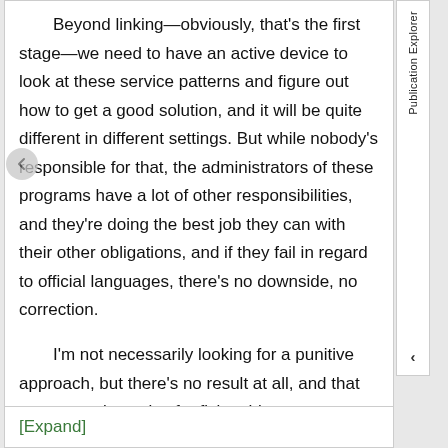Beyond linking—obviously, that's the first stage—we need to have an active device to look at these service patterns and figure out how to get a good solution, and it will be quite different in different settings. But while nobody's responsible for that, the administrators of these programs have a lot of other responsibilities, and they're doing the best job they can with their other obligations, and if they fail in regard to official languages, there's no downside, no correction.
I'm not necessarily looking for a punitive approach, but there's no result at all, and that creates no incentive for fixing things.
[Expand]